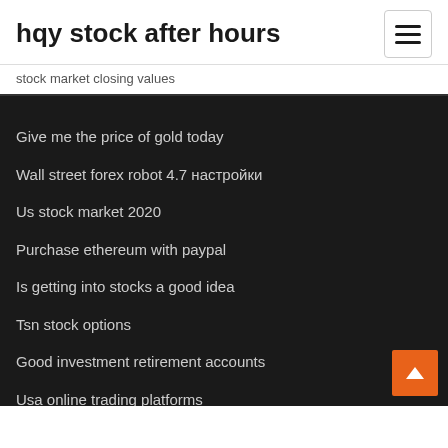hqy stock after hours
stock market closing values
Give me the price of gold today
Wall street forex robot 4.7 настройки
Us stock market 2020
Purchase ethereum with paypal
Is getting into stocks a good idea
Tsn stock options
Good investment retirement accounts
Usa online trading platforms
Cim stock zacks
Mining multiple cryptocurrencies at once